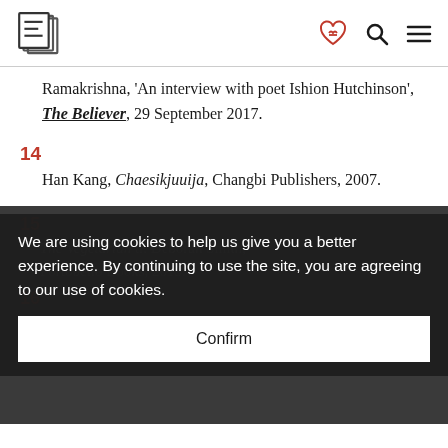[Logo: E] [heart icon] [search icon] [menu icon]
Ramakrishna, 'An interview with poet Ishion Hutchinson', The Believer, 29 September 2017.
14
Han Kang, Chaesikjuuija, Changbi Publishers, 2007.
15
The Vegetarian tr. Deborah Smith; Portobello Books, 2015.
16
[text partially obscured] 2019.
We are using cookies to help us give you a better experience. By continuing to use the site, you are agreeing to our use of cookies.
Confirm